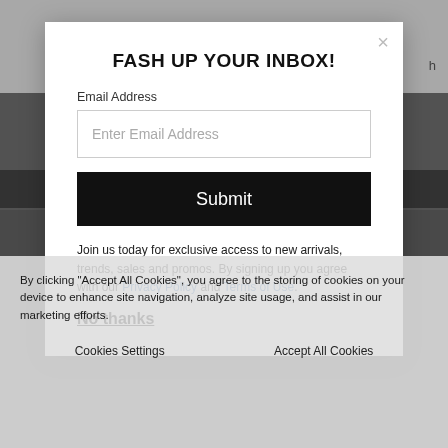[Figure (screenshot): Background website page with dark overlay, showing a fashion website with a black navigation bar and fashion images below]
FASH UP YOUR INBOX!
Email Address
Enter Email Address
Submit
Join us today for exclusive access to new arrivals, trends, sales and promos. By signing up you agree with our Privacy Policy and Terms of Use.
No thanks
By clicking "Accept All Cookies", you agree to the storing of cookies on your device to enhance site navigation, analyze site usage, and assist in our marketing efforts.
Cookies Settings
Accept All Cookies